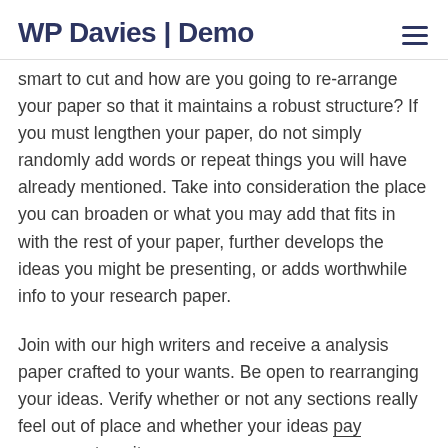WP Davies | Demo
smart to cut and how are you going to re-arrange your paper so that it maintains a robust structure? If you must lengthen your paper, do not simply randomly add words or repeat things you will have already mentioned. Take into consideration the place you can broaden or what you may add that fits in with the rest of your paper, further develops the ideas you might be presenting, or adds worthwhile info to your research paper.
Join with our high writers and receive a analysis paper crafted to your wants. Be open to rearranging your ideas. Verify whether or not any sections really feel out of place and whether your ideas pay someone to write